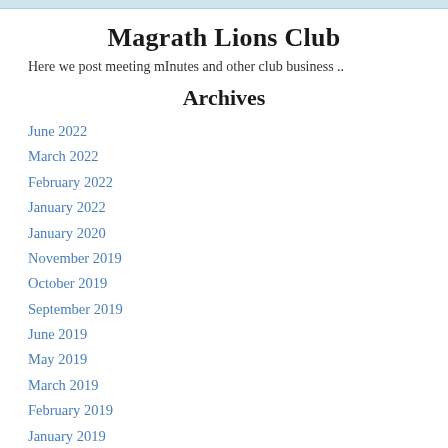Magrath Lions Club
Here we post meeting mInutes and other club business ..
Archives
June 2022
March 2022
February 2022
January 2022
January 2020
November 2019
October 2019
September 2019
June 2019
May 2019
March 2019
February 2019
January 2019
August 2018
June 2018